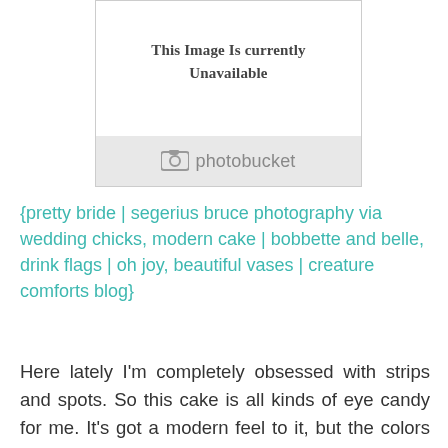[Figure (photo): Photobucket placeholder image showing 'This Image Is currently Unavailable' with the Photobucket logo at the bottom]
{pretty bride | segerius bruce photography via wedding chicks, modern cake | bobbette and belle, drink flags | oh joy, beautiful vases | creature comforts blog}
Here lately I'm completely obsessed with strips and spots. So this cake is all kinds of eye candy for me. It's got a modern feel to it, but the colors keep it feeling romantic and ultra girly. And I